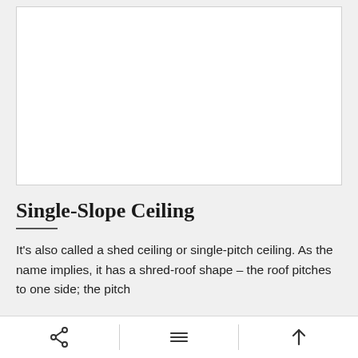[Figure (photo): White blank image placeholder area with light border]
Single-Slope Ceiling
It's also called a shed ceiling or single-pitch ceiling. As the name implies, it has a shred-roof shape – the roof pitches to one side; the pitch
Share | Menu | Up